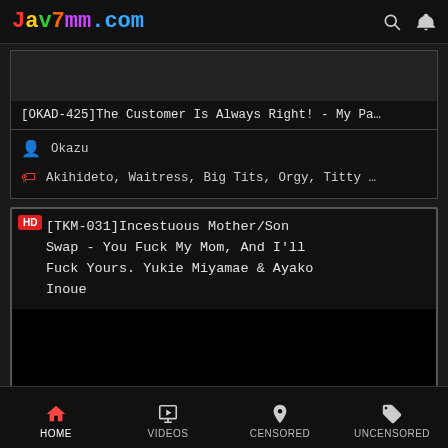Jav7mm.com
[OKAD-425]The Customer Is Always Right! - My Pa…
Okazu
Akihideto, Waitress, Big Tits, Orgy, Titty …
[TKM-031]Incestuous Mother/Son Swap - You Fuck My Mom, And I'll Fuck Yours. Yukie Miyamae & Ayako Inoue
HOME  VIDEOS  CENSORED  UNCENSORED